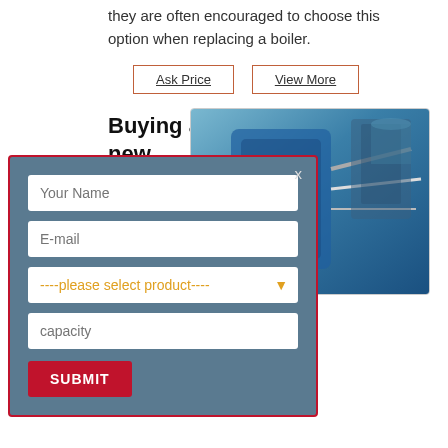they are often encouraged to choose this option when replacing a boiler.
Ask Price | View More
Buying a new
[Figure (photo): Blue industrial boiler equipment with manufacturer label]
ew boiler, you may erent options de to buying a new gas boiler is intended to help you
Ask Price | View More
Boiler
[Figure (screenshot): Contact form modal overlay with fields: Your Name, E-mail, product select dropdown, capacity, and SUBMIT button. Has an X close button.]